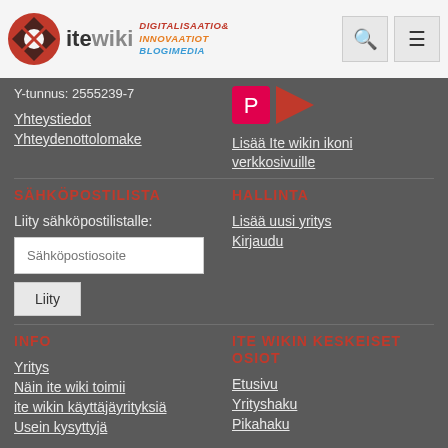ite wiki — DIGITALISAATIO& INNOVAATIOT BLOGIMEDIA
Y-tunnus: 2555239-7
Yhteystiedot
Yhteydenottolomake
Lisää Ite wikin ikoni verkkosivuille
SÄHKÖPOSTILISTA
HALLINTA
Liity sähköpostilistalle:
Lisää uusi yritys
Kirjaudu
INFO
ITE WIKIN KESKEISET OSIOT
Yritys
Näin ite wiki toimii
ite wikin käyttäjäyrityksiä
Usein kysyttyjä
Etusivu
Yrityshaku
Pikahaku